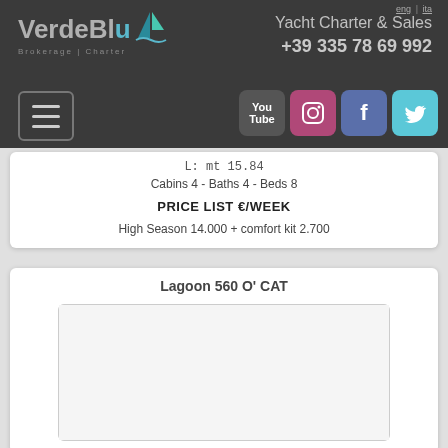VerdeBlu Brokerage | Charter — Yacht Charter & Sales +39 335 78 69 992
L: mt 15.84
Cabins 4 - Baths 4 - Beds 8
PRICE LIST €/WEEK
High Season 14.000 + comfort kit 2.700
Lagoon 560 O' CAT
[Figure (photo): Empty white image placeholder for Lagoon 560 O' CAT yacht]